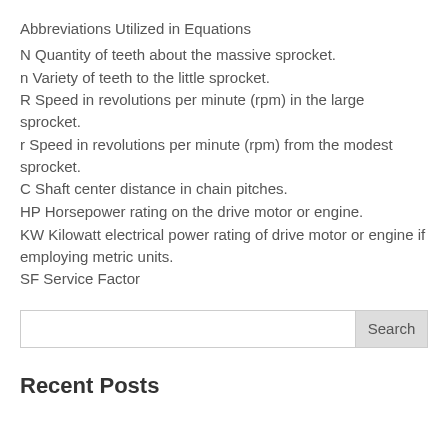Abbreviations Utilized in Equations
N Quantity of teeth about the massive sprocket.
n Variety of teeth to the little sprocket.
R Speed in revolutions per minute (rpm) in the large sprocket.
r Speed in revolutions per minute (rpm) from the modest sprocket.
C Shaft center distance in chain pitches.
HP Horsepower rating on the drive motor or engine.
KW Kilowatt electrical power rating of drive motor or engine if employing metric units.
SF Service Factor
Search
Recent Posts